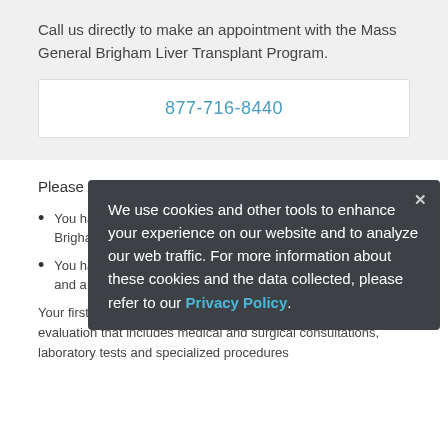Call us directly to make an appointment with the Mass General Brigham Liver Transplant Program.
877-716-8440
Please use this form only if:
You have never been a patient in the Mass General Brigham...
You have been a patient in the Mass General Brigham Liver... and a doctor
Your first appointment will be a comprehensive pre-transplant evaluation that includes medical and surgical consultations, laboratory tests and specialized procedures
We use cookies and other tools to enhance your experience on our website and to analyze our web traffic. For more information about these cookies and the data collected, please refer to our Privacy Policy.